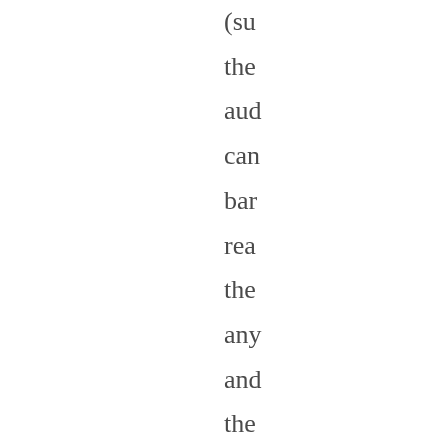(su the aud can bar rea the any and the the pre con of litt mo tha rea tho